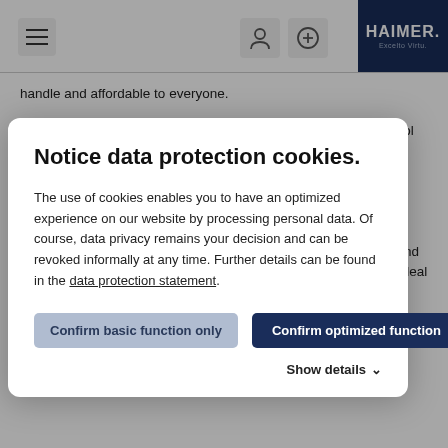HAIMER navigation bar with hamburger menu, user icon, plus icon, and HAIMER logo
Notice data protection cookies.
The use of cookies enables you to have an optimized experience on our website by processing personal data. Of course, data privacy remains your decision and can be revoked informally at any time. Further details can be found in the data protection statement.
Confirm basic function only | Confirm optimized function | Show details
handle and affordable to everyone.
HAIMER Tool Dynamic machines are suitable for balancing of tool holders, grinding wheels and large rotors with a diameter of up to 1,000 mm. They impress with highest repeatability of < 0.5 gmm, which corresponds to an eccentricity of 0.5 μm for a tool with a weight of 1kg.
The modular designed series offers the right solution for every kind of requirement. For example, the table top machine TD 1002 is ideal for balancing grinding wheels. The balancing adapters with automatic